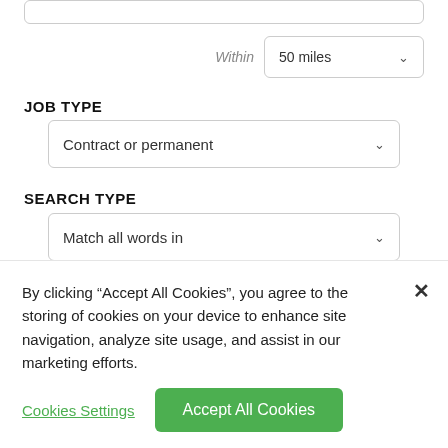JOB TYPE
[Figure (screenshot): Dropdown selector showing 'Contract or permanent']
SEARCH TYPE
[Figure (screenshot): Dropdown selector showing 'Match all words in']
[Figure (screenshot): Dropdown selector showing 'job title and/or description']
By clicking “Accept All Cookies”, you agree to the storing of cookies on your device to enhance site navigation, analyze site usage, and assist in our marketing efforts.
Cookies Settings
Accept All Cookies